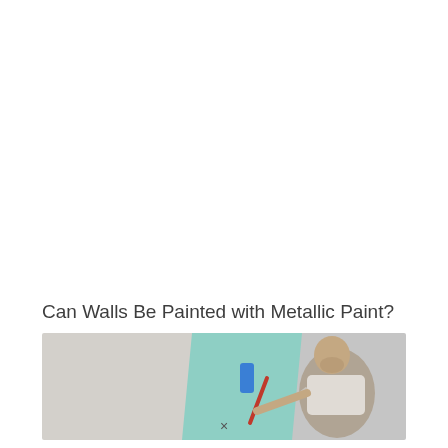Can Walls Be Painted with Metallic Paint?
[Figure (photo): A man painting a wall with a paint roller, applying teal/light green paint on a white wall.]
×